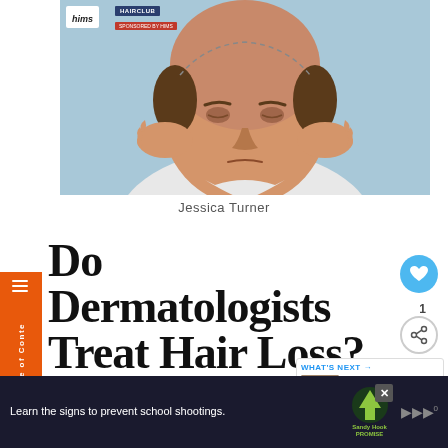[Figure (photo): Man with thinning/balding hair holding his head with both hands, dashed line marking hairline, light blue background. Hims and HairClub logos overlaid top-left.]
Jessica Turner
Do Dermatologists Treat Hair Loss? Know Which Doctor To Consult
[Figure (other): What's Next panel showing Lemonaid vs Hims article preview]
Learn the signs to prevent school shootings.
[Figure (logo): Sandy Hook Promise logo - green tree icon with text]